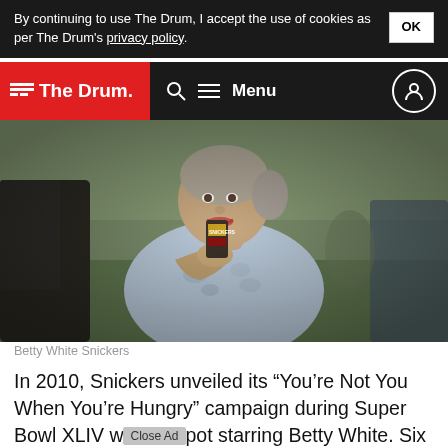By continuing to use The Drum, I accept the use of cookies as per The Drum's privacy policy. OK
The Drum  Menu
[Figure (photo): Elderly woman holding a Snickers bar outdoors on a field, close-up shot.]
Betty White Snickers
In 2010, Snickers unveiled its “You’re Not You When You’re Hungry” campaign during Super Bowl XLIV with a spot starring Betty White. Six years later, the campaign is still running and the “You’re Not You When You’re Hungry” catchphrase has